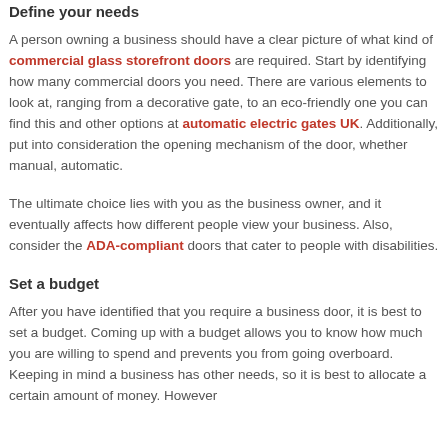Define your needs
A person owning a business should have a clear picture of what kind of commercial glass storefront doors are required. Start by identifying how many commercial doors you need. There are various elements to look at, ranging from a decorative gate, to an eco-friendly one you can find this and other options at automatic electric gates UK. Additionally, put into consideration the opening mechanism of the door, whether manual, automatic.
The ultimate choice lies with you as the business owner, and it eventually affects how different people view your business. Also, consider the ADA-compliant doors that cater to people with disabilities.
Set a budget
After you have identified that you require a business door, it is best to set a budget. Coming up with a budget allows you to know how much you are willing to spend and prevents you from going overboard. Keeping in mind a business has other needs, so it is best to allocate a certain amount of money. However